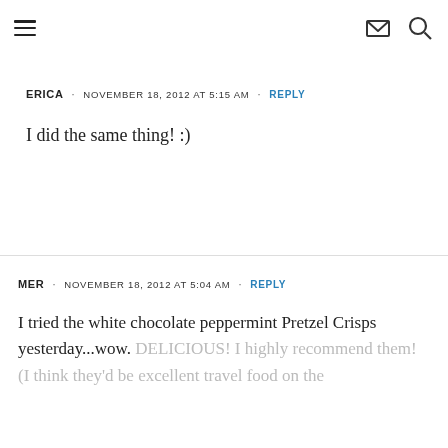navigation header with hamburger menu, mail icon, and search icon
ERICA · NOVEMBER 18, 2012 AT 5:15 AM · REPLY
I did the same thing! :)
MER · NOVEMBER 18, 2012 AT 5:04 AM · REPLY
I tried the white chocolate peppermint Pretzel Crisps yesterday...wow. DELICIOUS! I highly recommend them! (I think they'd be excellent travel food on the